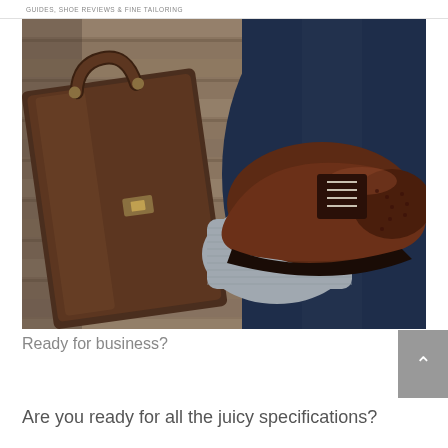GUIDES, SHOE REVIEWS & FINE TAILORING
[Figure (photo): A person's foot wearing a brown oxford brogue shoe with grey sock and navy trouser, resting beside a dark brown leather briefcase on a wooden deck surface.]
Ready for business?
Are you ready for all the juicy specifications?